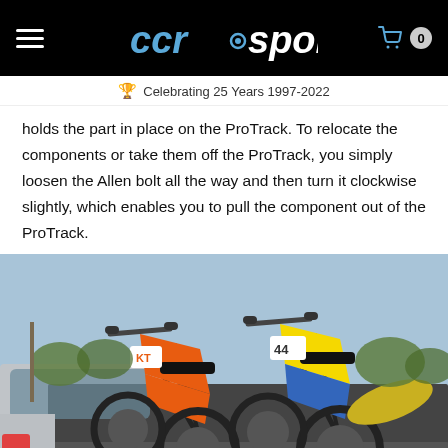CCRsport - Celebrating 25 Years 1997-2022
holds the part in place on the ProTrack. To relocate the components or take them off the ProTrack, you simply loosen the Allen bolt all the way and then turn it clockwise slightly, which enables you to pull the component out of the ProTrack.
[Figure (photo): Two motocross dirt bikes loaded upright in the bed of a silver pickup truck, photographed outdoors in a dry, dusty area with trees in the background.]